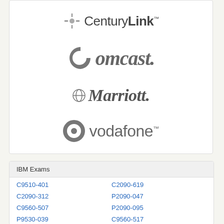[Figure (logo): CenturyLink logo with sunburst icon]
[Figure (logo): Comcast logo in gray italic serif font]
[Figure (logo): Marriott logo in gray italic serif font with diamond icon]
[Figure (logo): Vodafone logo with circle icon]
IBM Exams
C9510-401
C2090-619
C2090-312
P2090-047
C9560-507
P2090-095
P9530-039
C9560-517
C2070-981
C2070-982